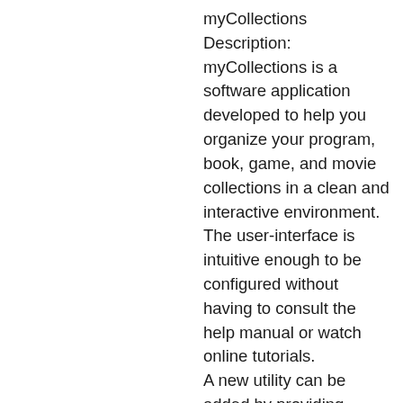myCollections Description: myCollections is a software application developed to help you organize your program, book, game, and movie collections in a clean and interactive environment. The user-interface is intuitive enough to be configured without having to consult the help manual or watch online tutorials. A new utility can be added by providing details about the title, UPC barcode, public rating, editor, version, description, language, comment, filename and path, links, and others. Plus, you can mark the current tool as tested, to be deleted or tested, or put it on the wish list. What's more, the “Books” section can be customized in terms of title, author, ISBN, editor, description, language, number of pages, released date, and others. Books may be marked as read, to be read or deleted, or updated.